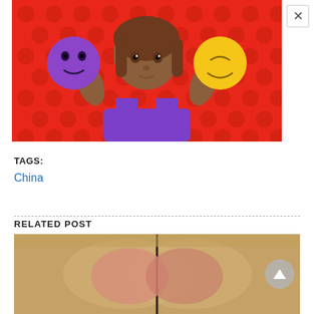[Figure (illustration): Emoji-style illustration of a woman with medium-dark skin tone and brown hair wearing a purple shirt, holding up a purple emoji face on her left and a yellow smiling emoji face on her right, against a red polka-dot background.]
TAGS:
China
RELATED POST
[Figure (photo): Partial photo showing what appears to be decorative golden/lace fabric or ornamental collar, with a dark vertical line (possibly a seam) visible in the center.]